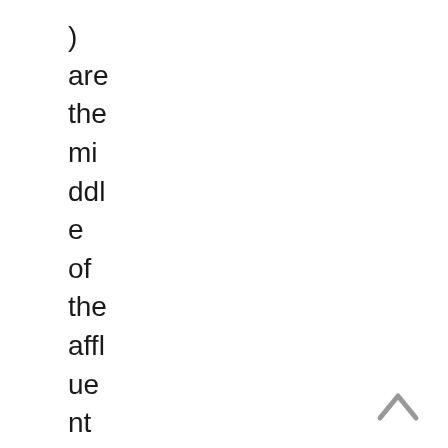) are the middle of the affluent family memb
[Figure (other): A grey upward-pointing chevron/caret navigation arrow icon in the bottom-right corner]